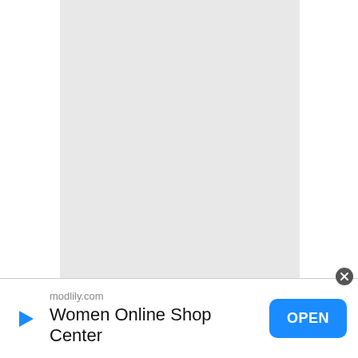[Figure (screenshot): A light gray blank document panel centered on a white background, representing an empty or loading page.]
modlily.com
Women Online Shop Center
OPEN